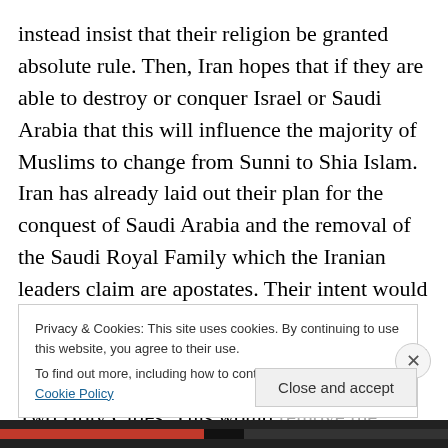instead insist that their religion be granted absolute rule. Then, Iran hopes that if they are able to destroy or conquer Israel or Saudi Arabia that this will influence the majority of Muslims to change from Sunni to Shia Islam. Iran has already laid out their plan for the conquest of Saudi Arabia and the removal of the Saudi Royal Family which the Iranian leaders claim are apostates. Their intent would be to attack the northeastern oil fields which has a majority Shia population while attacking from Yemen taking Mecca and Medina, the Two Holy Cities. This would remove the mystic which the Saudi Royal Family use to
Privacy & Cookies: This site uses cookies. By continuing to use this website, you agree to their use.
To find out more, including how to control cookies, see here: Cookie Policy